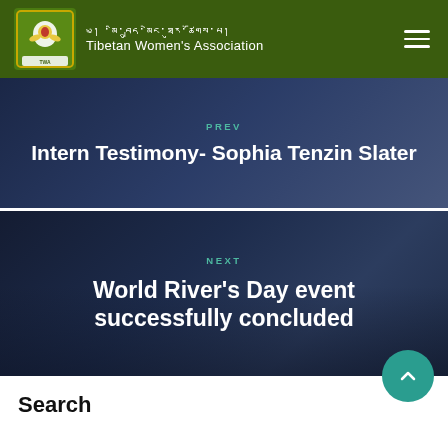Tibetan Women's Association
PREV
Intern Testimony- Sophia Tenzin Slater
NEXT
World River's Day event successfully concluded
Search